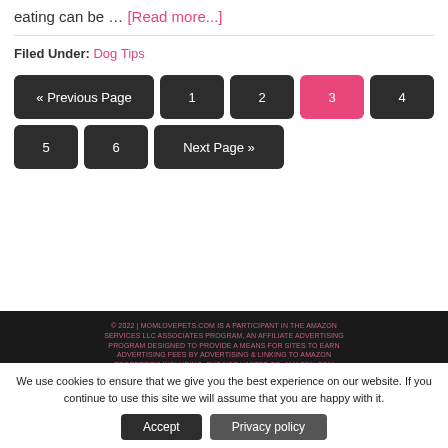eating can be … [Read more...]
Filed Under: Dog Tips
« Previous Page 1 2 3 4 5 6 Next Page »
© 2022 | MOMLOVEPETS.COM IS A PARTICIPANT IN THE AMAZON SERVICES LLC ASSOCIATES PROGRAM, AN AFFILIATE ADVERTISING PROGRAM DESIGNED TO PROVIDE A MEANS FOR SITES TO EARN ADVERTISING FEES BY ADVERTISING & LINKING TO AMAZON PROPERTIES INCLUDING, BUT NOT LIMITED TO, AMAZON.COM
We use cookies to ensure that we give you the best experience on our website. If you continue to use this site we will assume that you are happy with it.